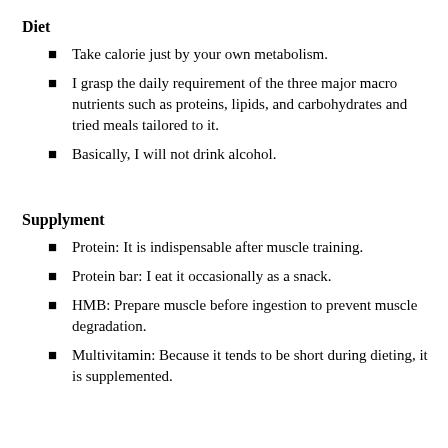Diet
Take calorie just by your own metabolism.
I grasp the daily requirement of the three major macro nutrients such as proteins, lipids, and carbohydrates and tried meals tailored to it.
Basically, I will not drink alcohol.
Supplyment
Protein: It is indispensable after muscle training.
Protein bar: I eat it occasionally as a snack.
HMB: Prepare muscle before ingestion to prevent muscle degradation.
Multivitamin: Because it tends to be short during dieting, it is supplemented.